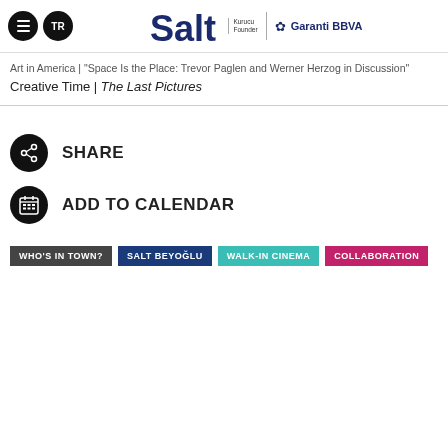Salt — Kurucu Founder | Garanti BBVA
Art in America | "Space Is the Place: Trevor Paglen and Werner Herzog in Discussion"
Creative Time | The Last Pictures
SHARE
ADD TO CALENDAR
WHO'S IN TOWN?
SALT BEYOĞLU
WALK-IN CINEMA
COLLABORATION